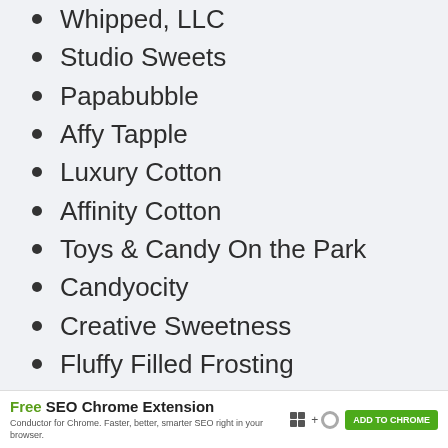Whipped, LLC
Studio Sweets
Papabubble
Affy Tapple
Luxury Cotton
Affinity Cotton
Toys & Candy On the Park
Candyocity
Creative Sweetness
Fluffy Filled Frosting
Candy Floss Heaven
Gumdrops Galore
Free SEO Chrome Extension — Conductor for Chrome. Faster, better, smarter SEO right in your browser. ADD TO CHROME